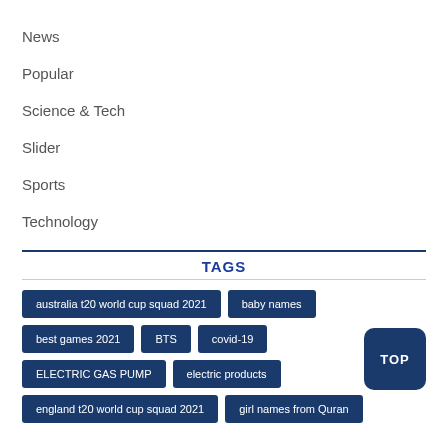News
Popular
Science & Tech
Slider
Sports
Technology
TAGS
australia t20 world cup squad 2021
baby names
best games 2021
BTS
covid-19
ELECTRIC GAS PUMP
electric products
england t20 world cup squad 2021
girl names from Quran